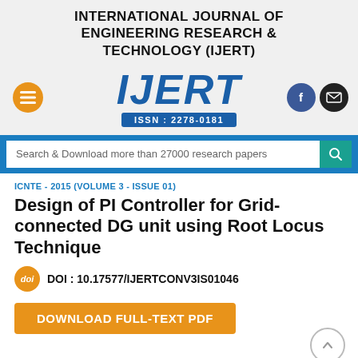INTERNATIONAL JOURNAL OF ENGINEERING RESEARCH & TECHNOLOGY (IJERT)
[Figure (logo): IJERT logo with ISSN: 2278-0181, orange hamburger menu button, Facebook and email icons]
Search & Download more than 27000 research papers
ICNTE - 2015 (VOLUME 3 - ISSUE 01)
Design of PI Controller for Grid-connected DG unit using Root Locus Technique
DOI : 10.17577/IJERTCONV3IS01046
DOWNLOAD FULL-TEXT PDF